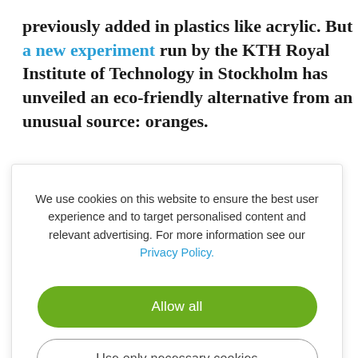previously added in plastics like acrylic. But a new experiment run by the KTH Royal Institute of Technology in Stockholm has unveiled an eco-friendly alternative from an unusual source: oranges.
We use cookies on this website to ensure the best user experience and to target personalised content and relevant advertising. For more information see our Privacy Policy.

[Allow all button]
[Use only necessary cookies button]
they could in eco